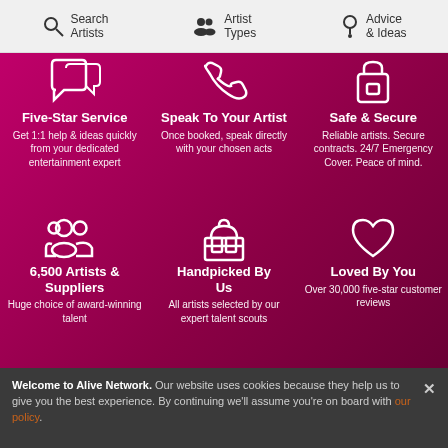Search Artists | Artist Types | Advice & Ideas
[Figure (infographic): Six feature icons on magenta background: speech bubbles, phone, shopping bag, group of people, gift box, heart]
Five-Star Service
Get 1:1 help & ideas quickly from your dedicated entertainment expert
Speak To Your Artist
Once booked, speak directly with your chosen acts
Safe & Secure
Reliable artists. Secure contracts. 24/7 Emergency Cover. Peace of mind.
6,500 Artists & Suppliers
Huge choice of award-winning talent
Handpicked By Us
All artists selected by our expert talent scouts
Loved By You
Over 30,000 five-star customer reviews
Welcome to Alive Network. Our website uses cookies because they help us to give you the best experience. By continuing we'll assume you're on board with our policy.